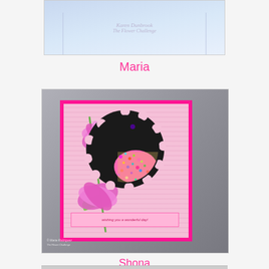[Figure (photo): Partial view of a blue card or box with text 'Karen Dunbrook The Flower Challenge' visible in italic script]
Maria
[Figure (photo): Handmade greeting card with pink border, pink magnolia flowers, black scalloped circle embellishment, multicolor glitter egg/oval, and a sentiment banner reading 'wishing you a wonderful day'. Watermark reads '© Maria Rodriguez The Flower Challenge']
Shona
[Figure (photo): Partially visible bottom image, cropped at page edge]